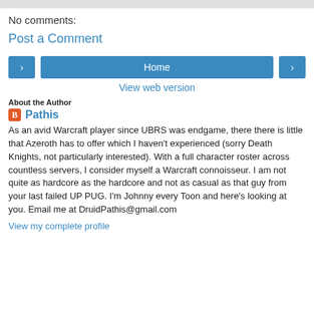No comments:
Post a Comment
[Figure (other): Navigation buttons: left arrow, Home, right arrow]
View web version
About the Author
Pathis
As an avid Warcraft player since UBRS was endgame, there there is little that Azeroth has to offer which I haven't experienced (sorry Death Knights, not particularly interested). With a full character roster across countless servers, I consider myself a Warcraft connoisseur. I am not quite as hardcore as the hardcore and not as casual as that guy from your last failed UP PUG. I'm Johnny every Toon and here's looking at you. Email me at DruidPathis@gmail.com
View my complete profile